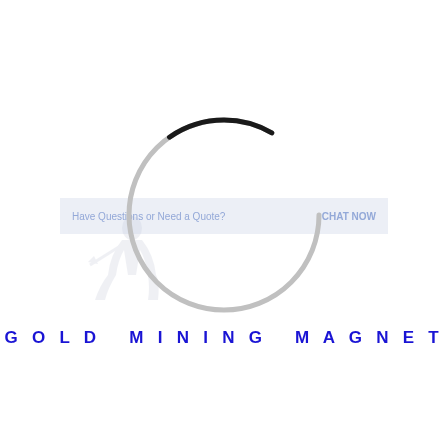[Figure (logo): A circular ring/magnet shape — thin ring with top-left portion in light gray and bottom-left portion in dark/black, forming a complete circle. Overlaid with a faint watermark banner reading 'Have Questions or Need a Quote?' on the left and 'CHAT NOW' on the right, with a faint miner/worker figure watermark icon.]
GOLD MINING MAGNET